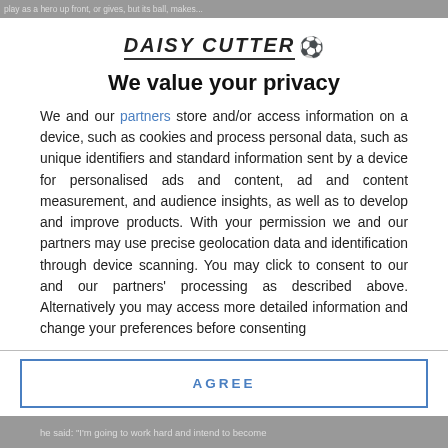[Figure (screenshot): Cropped top strip of a webpage article, text partially visible: 'play as a hero up front, or gives, but its ball, makes...']
[Figure (logo): Daisy Cutter logo with soccer ball emoji]
We value your privacy
We and our partners store and/or access information on a device, such as cookies and process personal data, such as unique identifiers and standard information sent by a device for personalised ads and content, ad and content measurement, and audience insights, as well as to develop and improve products. With your permission we and our partners may use precise geolocation data and identification through device scanning. You may click to consent to our and our partners' processing as described above. Alternatively you may access more detailed information and change your preferences before consenting
AGREE
MORE OPTIONS
[Figure (screenshot): Cropped bottom strip of a webpage article, text partially visible: 'he said: "I'm going to work hard and intend to become']